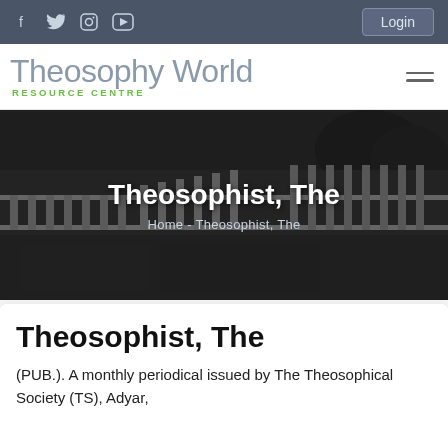Theosophy World Resource Centre — Login
[Figure (screenshot): Theosophy World website header with logo showing 'Theosophy World RESOURCE CENTRE' in grey and green text, hamburger menu icon on right]
[Figure (photo): Black and white photo of a building with white railings and balustrades, used as hero banner background]
Theosophist, The
Home - Theosophist, The
Theosophist, The
(PUB.). A monthly periodical issued by The Theosophical Society (TS), Adyar,